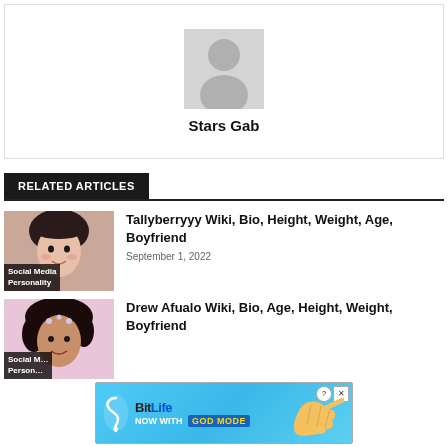[Figure (illustration): Generic avatar/profile placeholder silhouette in gray]
Stars Gab
RELATED ARTICLES
[Figure (photo): Photo of Tallyberryyy, a young woman with dark hair and bangs, labeled Social Media Personality]
Tallyberryyy Wiki, Bio, Height, Weight, Age, Boyfriend
September 1, 2022
[Figure (photo): Photo of Drew Afualo, a young woman with dark curly hair, labeled Social Media Personality]
Drew Afualo Wiki, Bio, Age, Height, Weight, Boyfriend
[Figure (screenshot): BitLife advertisement banner: NOW WITH GOD MODE, with game-style graphic of pointing hand]